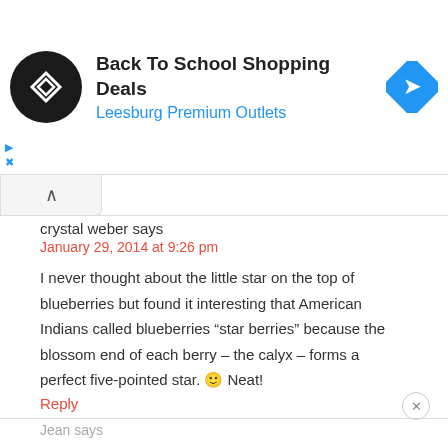[Figure (logo): Ad banner: Back To School Shopping Deals at Leesburg Premium Outlets with circular logo and blue diamond navigation icon]
crystal weber says
January 29, 2014 at 9:26 pm
I never thought about the little star on the top of blueberries but found it interesting that American Indians called blueberries “star berries” because the blossom end of each berry – the calyx – forms a perfect five-pointed star. 🙂 Neat!
Reply
Jean says